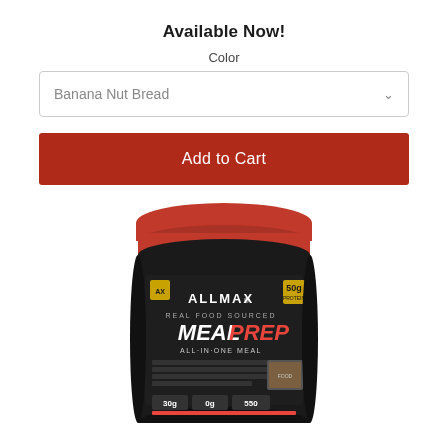Available Now!
Color
Banana Nut Bread
Add to Cart
[Figure (photo): ALLMAX Meal Prep protein powder container with red lid, black label reading 'ALLMAX REAL FOOD SOURCED MEAL PREP ALL-IN-ONE MEAL' with 50g protein badge and nutritional info at bottom, partially cropped.]